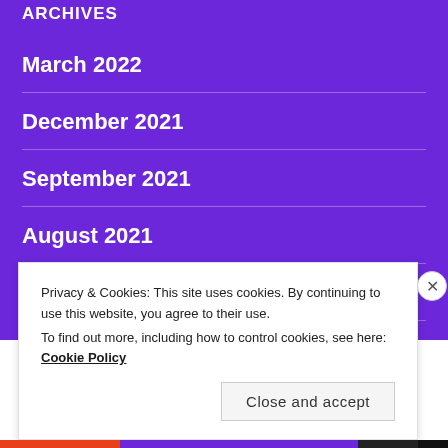ARCHIVES
March 2022
December 2021
September 2021
August 2021
June 2021
Privacy & Cookies: This site uses cookies. By continuing to use this website, you agree to their use.
To find out more, including how to control cookies, see here: Cookie Policy
Close and accept